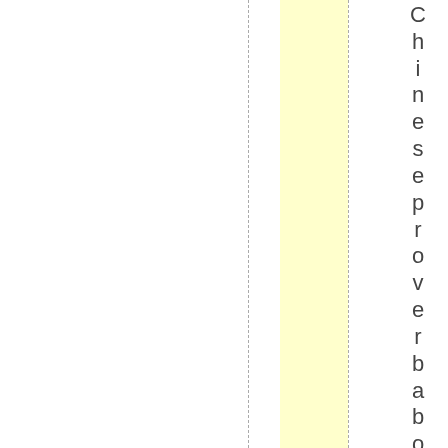[Figure (other): Page layout with vertical dashed lines, a yellow highlighted column strip, and vertical text reading 'Chinese proverb about living' arranged letter by letter down the right side.]
Chinese proverb about living